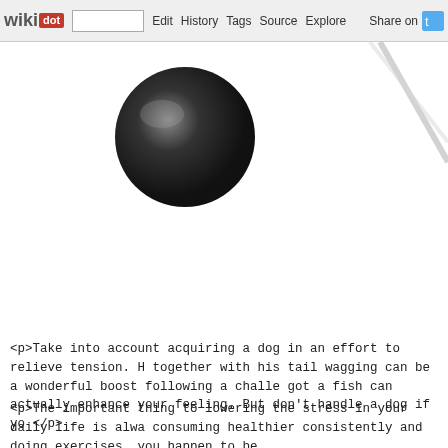wikidot | Edit | History | Tags | Source | Explore | Share on
[Figure (photo): A dark black spherical ball in the upper left area of the page, with a diagonal silver/grey line element in the upper right corner]
<p>Take into account acquiring a dog in an effort to relieve tension. H together with his tail wagging can be a wonderful boost following a challe got a fish can actually enhance your feeling. But don't handle a dog if yo </p>
<p>The important thing to lowering the stress in your daily life is alwa consuming healthier consistently and doing exercises, you happen to be